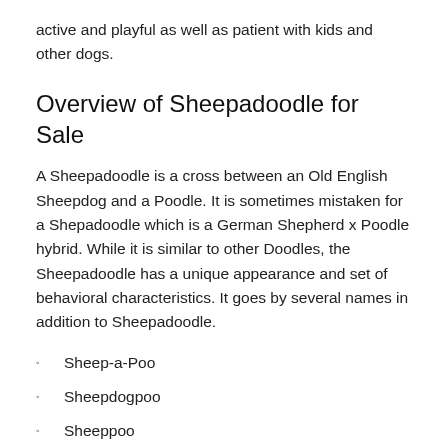active and playful as well as patient with kids and other dogs.
Overview of Sheepadoodle for Sale
A Sheepadoodle is a cross between an Old English Sheepdog and a Poodle. It is sometimes mistaken for a Shepadoodle which is a German Shepherd x Poodle hybrid. While it is similar to other Doodles, the Sheepadoodle has a unique appearance and set of behavioral characteristics. It goes by several names in addition to Sheepadoodle.
Sheep-a-Poo
Sheepdogpoo
Sheeppoo
Sheepdoodle